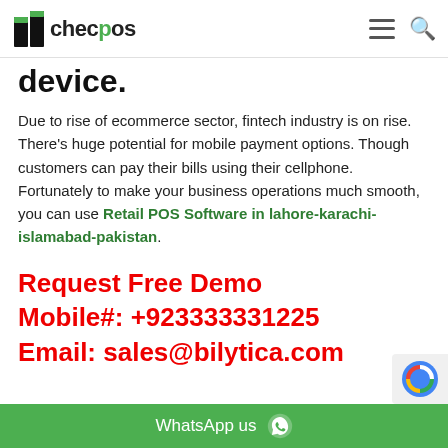checpos [logo] [hamburger menu] [search icon]
device.
Due to rise of ecommerce sector, fintech industry is on rise. There's huge potential for mobile payment options. Though customers can pay their bills using their cellphone. Fortunately to make your business operations much smooth, you can use Retail POS Software in lahore-karachi-islamabad-pakistan.
Request Free Demo
Mobile#: +923333331225
Email: sales@bilytica.com